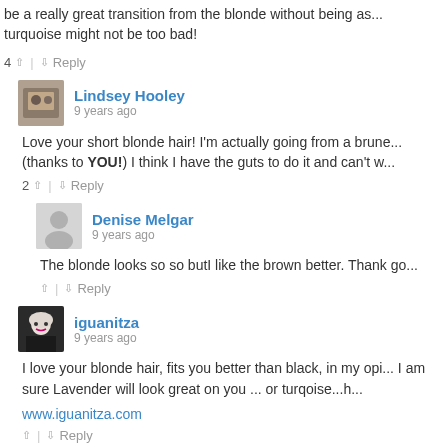be a really great transition from the blonde without being as... turquoise might not be too bad!
4 ↑ | ↓ Reply
Lindsey Hooley
9 years ago
Love your short blonde hair! I'm actually going from a brune... (thanks to YOU!) I think I have the guts to do it and can't w...
2 ↑ | ↓ Reply
Denise Melgar
9 years ago
The blonde looks so so butI like the brown better. Thank go...
↑ | ↓ Reply
iguanitza
9 years ago
I love your blonde hair, fits you better than black, in my opi... I am sure Lavender will look great on you ... or turqoise...h...
www.iguanitza.com
↑ | ↓ Reply